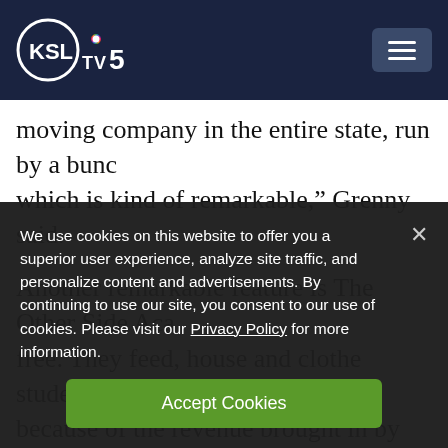[Figure (logo): KSL TV 5 NBC News logo on dark navy header bar with hamburger menu button]
moving company in the entire state, run by a bunch of kids, which is kind of remarkable,” Grenny said.
Another remarkable feature is The Other Side Aca... free. They feed, house and clothe students, and th... because of the revenue brought in by the students...
We use cookies on this website to offer you a superior user experience, analyze site traffic, and personalize content and advertisements. By continuing to use our site, you consent to our use of cookies. Please visit our Privacy Policy for more information.
Accept Cookies